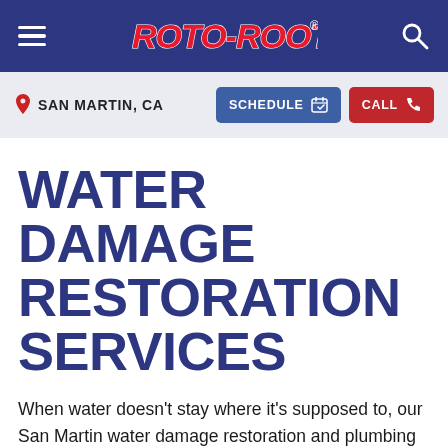ROTO-ROOTER
SAN MARTIN, CA
WATER DAMAGE RESTORATION SERVICES
When water doesn't stay where it's supposed to, our San Martin water damage restoration and plumbing experts are at-the-ready to handle flooded basements,